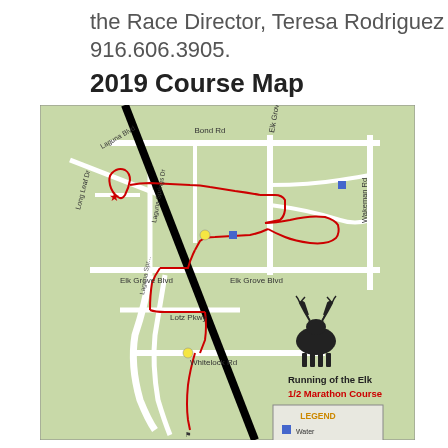the Race Director, Teresa Rodriguez at 916.606.3905.
2019 Course Map
[Figure (map): 2019 course map for the Running of the Elk 1/2 Marathon Course in Elk Grove, CA. Shows race route in red along streets including Laguna Blvd, Bond Rd, Elk Grove Blvd, Lotz Pkwy, and Whitelock Rd. Features a diagonal railroad track (black line), a start marker (red star), water stations, mile marks, and a legend. Includes elk logo and text 'Running of the Elk 1/2 Marathon Course'.]